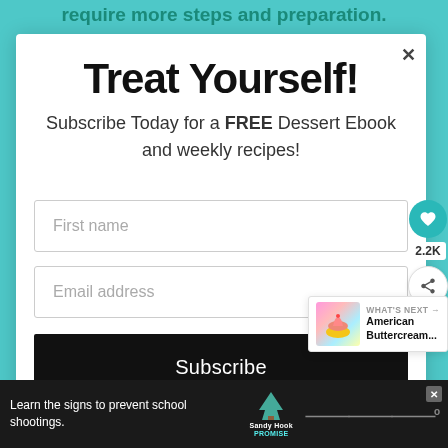require more steps and preparation.
Treat Yourself!
Subscribe Today for a FREE Dessert Ebook and weekly recipes!
First name
Email address
Subscribe
2.2K
WHAT'S NEXT → American Buttercream...
Learn the signs to prevent school shootings.